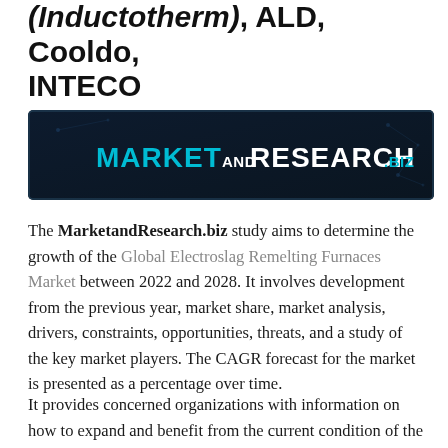(Inductotherm), ALD, Cooldo, INTECO
[Figure (logo): MarketandResearch.biz logo banner — dark navy/black background with cyan and white text reading MARKET AND RESEARCH.BIZ]
The MarketandResearch.biz study aims to determine the growth of the Global Electroslag Remelting Furnaces Market between 2022 and 2028. It involves development from the previous year, market share, market analysis, drivers, constraints, opportunities, threats, and a study of the key market players. The CAGR forecast for the market is presented as a percentage over time.
It provides concerned organizations with information on how to expand and benefit from the current condition of the market and the future. The patterns